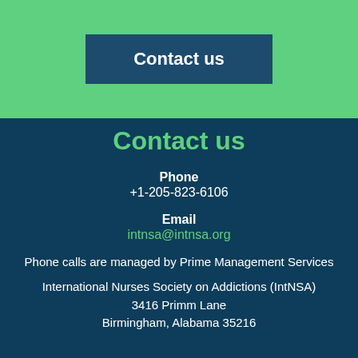Contact us
Contact us
Phone
+1-205-823-6106
Email
intnsa@intnsa.org
Phone calls are managed by Prime Management Services
International Nurses Society on Addictions (IntNSA)
3416 Primm Lane
Birmingham, Alabama 35216